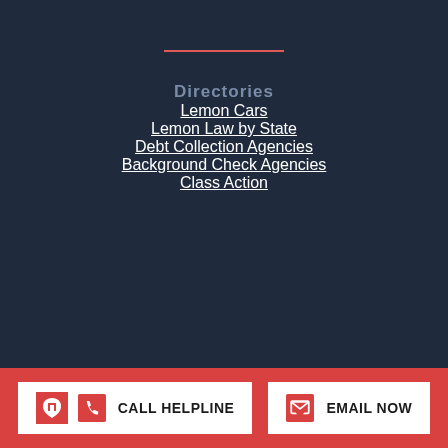Directories
Lemon Cars
Lemon Law by State
Debt Collection Agencies
Background Check Agencies
Class Action
CALL HELPLINE
EMAIL NOW